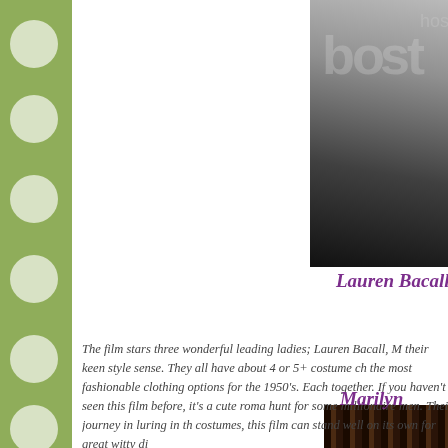[Figure (photo): Photo of Lauren Bacall, partially visible, with a decorative frame and watermark overlay. Film still from a 1950s movie.]
Lauren Bacall
[Figure (photo): Photo of Marilyn Monroe, partially cropped on the right side, dark background, sitting pose.]
Marilyn
The film stars three wonderful leading ladies; Lauren Bacall, M their keen style sense. They all have about 4 or 5+ costume ch the most fashionable clothing options for the 1950's. Each together. If you haven't seen this film before, it's a cute roma hunt for some millionaire men. Their journey in luring in th costumes, this film can stand well on its own for great witty di
[Figure (photo): Bottom partial photo, appears to show vertical striped/columned architectural or decorative elements in dark brown tones.]